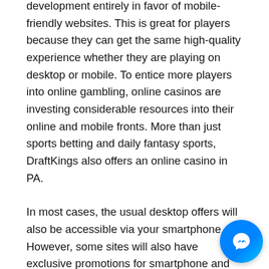development entirely in favor of mobile-friendly websites. This is great for players because they can get the same high-quality experience whether they are playing on desktop or mobile. To entice more players into online gambling, online casinos are investing considerable resources into their online and mobile fronts. More than just sports betting and daily fantasy sports, DraftKings also offers an online casino in PA.
In most cases, the usual desktop offers will also be accessible via your smartphone. However, some sites will also have exclusive promotions for smartphone and tablet users. Other than the size of the reward that comes with the promotions, you should also check the terms and conditions of the bonus offer to see if they suit you.
Casinos Online is an online source of expert information about gambling in the United States. For this, you have to submit your personal document prior to making the first